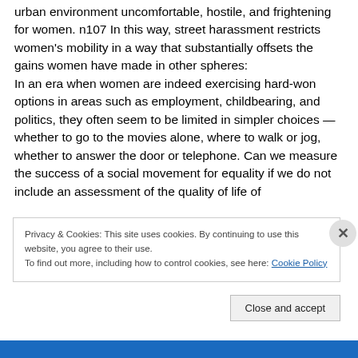urban environment uncomfortable, hostile, and frightening for women. n107 In this way, street harassment restricts women's mobility in a way that substantially offsets the gains women have made in other spheres: In an era when women are indeed exercising hard-won options in areas such as employment, childbearing, and politics, they often seem to be limited in simpler choices — whether to go to the movies alone, where to walk or jog, whether to answer the door or telephone. Can we measure the success of a social movement for equality if we do not include an assessment of the quality of life of
Privacy & Cookies: This site uses cookies. By continuing to use this website, you agree to their use.
To find out more, including how to control cookies, see here: Cookie Policy